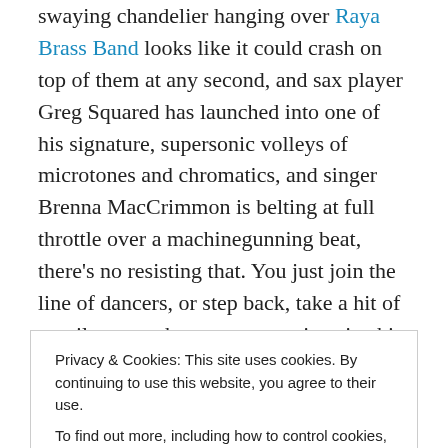swaying chandelier hanging over Raya Brass Band looks like it could crash on top of them at any second, and sax player Greg Squared has launched into one of his signature, supersonic volleys of microtones and chromatics, and singer Brenna MacCrimmon is belting at full throttle over a machinegunning beat, there's no resisting that. You just join the line of dancers, or step back, take a hit of tequila  – or whatever your poison is, this is a party – and thank the random chance that you're alive to see this.
If you haven't been to one of...
Privacy & Cookies: This site uses cookies. By continuing to use this website, you agree to their use.
To find out more, including how to control cookies, see here: Cookie Policy
Close and accept
acoustic band, Zapekanka. Their set of Romany laments,